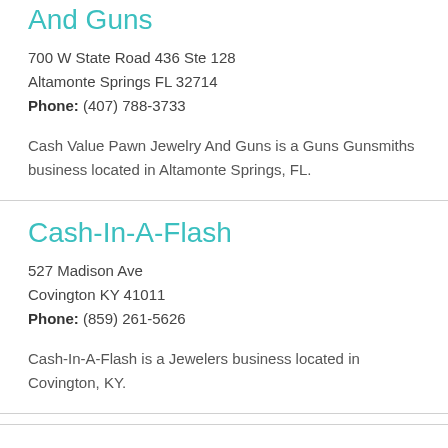And Guns
700 W State Road 436 Ste 128
Altamonte Springs FL 32714
Phone: (407) 788-3733
Cash Value Pawn Jewelry And Guns is a Guns Gunsmiths business located in Altamonte Springs, FL.
Cash-In-A-Flash
527 Madison Ave
Covington KY 41011
Phone: (859) 261-5626
Cash-In-A-Flash is a Jewelers business located in Covington, KY.